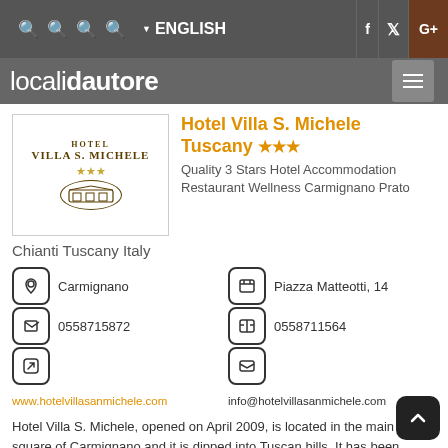localidautore — ENGLISH
Hotel Villa S. Michele Tuscany ★★★
Quality 3 Stars Hotel Accommodation Restaurant Wellness Carmignano Prato
Chianti Tuscany Italy
Carmignano
Piazza Matteotti, 14
0558715872
0558711564
www.hotelvillasanmichele.com
info@hotelvillasanmichele.com
Hotel Villa S. Michele, opened on April 2009, is located in the main square of Carmignano and it is dipped into Tuscan hills. It has been created in perfect balance between the quiet of the place and the ease of reach quickly the most close and important...